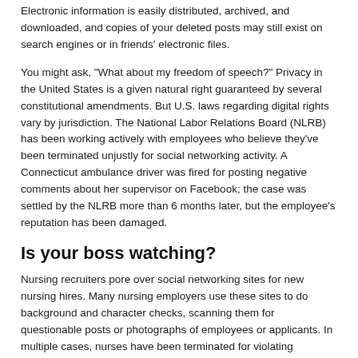Electronic information is easily distributed, archived, and downloaded, and copies of your deleted posts may still exist on search engines or in friends' electronic files.
You might ask, "What about my freedom of speech?" Privacy in the United States is a given natural right guaranteed by several constitutional amendments. But U.S. laws regarding digital rights vary by jurisdiction. The National Labor Relations Board (NLRB) has been working actively with employees who believe they've been terminated unjustly for social networking activity. A Connecticut ambulance driver was fired for posting negative comments about her supervisor on Facebook; the case was settled by the NLRB more than 6 months later, but the employee's reputation has been damaged.
Is your boss watching?
Nursing recruiters pore over social networking sites for new nursing hires. Many nursing employers use these sites to do background and character checks, scanning them for questionable posts or photographs of employees or applicants. In multiple cases, nurses have been terminated for violating employers' Internet